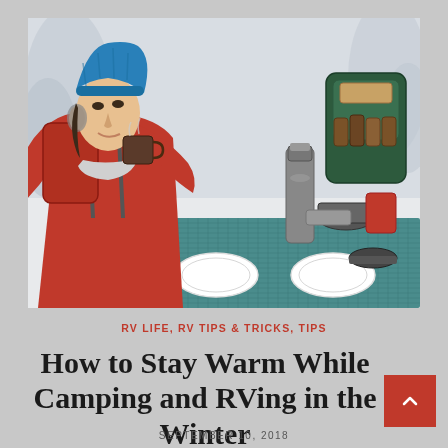[Figure (photo): Woman in red jacket and blue beanie hat holding a mug at a snowy outdoor campsite table with camping gear, thermos, and plates on a teal tablecloth]
RV LIFE, RV TIPS & TRICKS, TIPS
How to Stay Warm While Camping and RVing in the Winter
SEPTEMBER 10, 2018